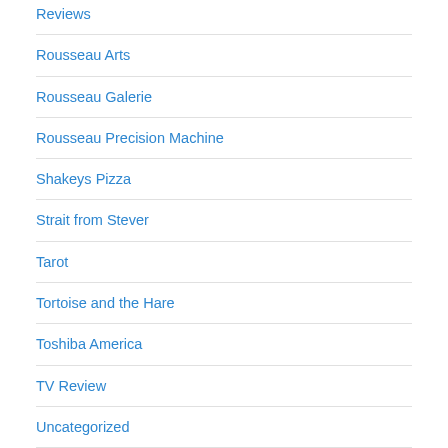Reviews
Rousseau Arts
Rousseau Galerie
Rousseau Precision Machine
Shakeys Pizza
Strait from Stever
Tarot
Tortoise and the Hare
Toshiba America
TV Review
Uncategorized
USAF